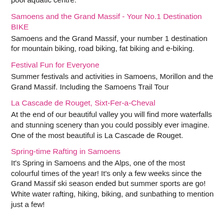pool aquatic centre.
Samoens and the Grand Massif - Your No.1 Destination BIKE
Samoens and the Grand Massif, your number 1 destination for mountain biking, road biking, fat biking and e-biking.
Festival Fun for Everyone
Summer festivals and activities in Samoens, Morillon and the Grand Massif. Including the Samoens Trail Tour
La Cascade de Rouget, Sixt-Fer-a-Cheval
At the end of our beautiful valley you will find more waterfalls and stunning scenery than you could possibly ever imagine. One of the most beautiful is La Cascade de Rouget.
Spring-time Rafting in Samoens
It's Spring in Samoens and the Alps, one of the most colourful times of the year! It's only a few weeks since the Grand Massif ski season ended but summer sports are go! White water rafting, hiking, biking, and sunbathing to mention just a few!